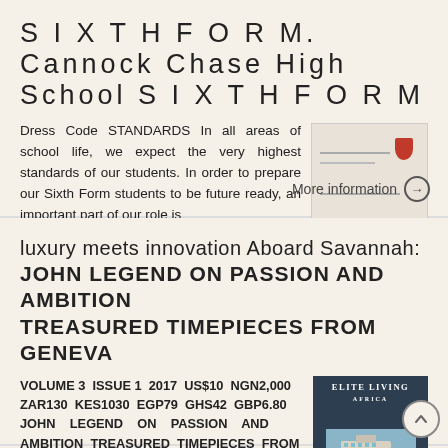S I X T H F O R M. Cannock Chase High School S I X T H F O R M
Dress Code STANDARDS In all areas of school life, we expect the very highest standards of our students. In order to prepare our Sixth Form students to be future ready, an important part of our role is
[Figure (illustration): Thumbnail image placeholder with lines and a red bookmark/ribbon shape]
More information →
luxury meets innovation Aboard Savannah: JOHN LEGEND ON PASSION AND AMBITION TREASURED TIMEPIECES FROM GENEVA
VOLUME 3 ISSUE 1 2017 US$10 NGN2,000 ZAR130 KES1030 EGP79 GHS42 GBP6.80 JOHN LEGEND ON PASSION AND AMBITION TREASURED TIMEPIECES FROM GENEVA AND BASEL DRIVEN BY LUST: THE FERRARI J50 ULTIMATE BLISS AT
[Figure (photo): Elite Living Africa magazine cover showing a large yacht/ship on water]